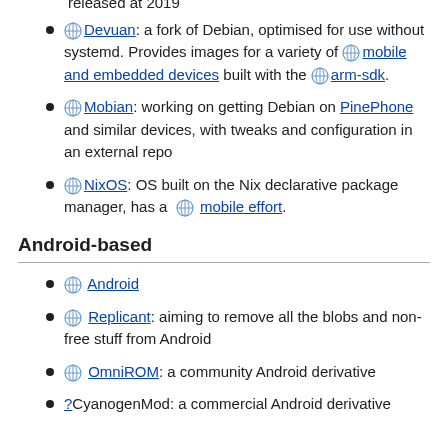released at 2019
Devuan: a fork of Debian, optimised for use without systemd. Provides images for a variety of mobile and embedded devices built with the arm-sdk.
Mobian: working on getting Debian on PinePhone and similar devices, with tweaks and configuration in an external repo
NixOS: OS built on the Nix declarative package manager, has a mobile effort.
Android-based
Android
Replicant: aiming to remove all the blobs and non-free stuff from Android
OmniROM: a community Android derivative
?CyanogenMod: a commercial Android derivative